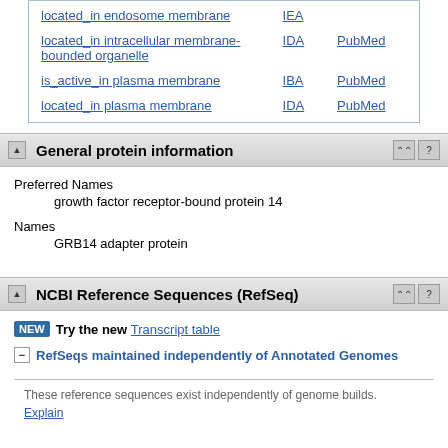| located_in endosome membrane | IEA |  |
| located_in intracellular membrane-bounded organelle | IDA | PubMed |
| is_active_in plasma membrane | IBA | PubMed |
| located_in plasma membrane | IDA | PubMed |
General protein information
Preferred Names
growth factor receptor-bound protein 14
Names
GRB14 adapter protein
NCBI Reference Sequences (RefSeq)
NEW  Try the new Transcript table
RefSeqs maintained independently of Annotated Genomes
These reference sequences exist independently of genome builds. Explain